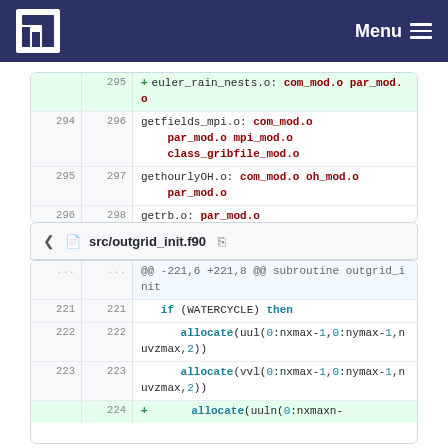NILU Menu
| old | new | code |
| --- | --- | --- |
|  | 295 | + euler_rain_nests.o: com_mod.o par_mod.o |
| 294 | 296 | getfields_mpi.o: com_mod.o par_mod.o mpi_mod.o class_gribfile_mod.o |
| 295 | 297 | gethourlyOH.o: com_mod.o oh_mod.o par_mod.o |
| 296 | 298 | getrb.o: par_mod.o |
| ... | ... |  |
src/outgrid_init.f90
| old | new | code |
| --- | --- | --- |
| ... | ... | @@ -221,6 +221,8 @@ subroutine outgrid_init |
| 221 | 221 |    if (WATERCYCLE) then |
| 222 | 222 |       allocate(uul(0:nxmax-1,0:nymax-1,nuvzmax,2)) |
| 223 | 223 |       allocate(vvl(0:nxmax-1,0:nymax-1,nuvzmax,2)) |
|  | 224 | +       allocate(uuln(0:nxmaxn- |